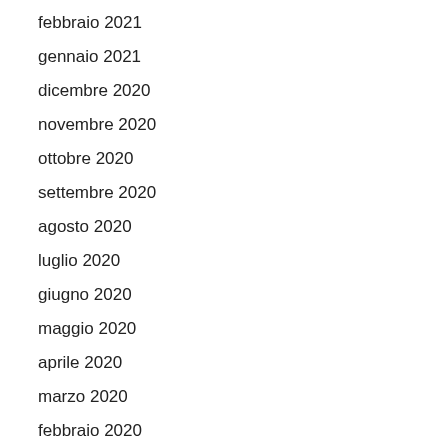febbraio 2021
gennaio 2021
dicembre 2020
novembre 2020
ottobre 2020
settembre 2020
agosto 2020
luglio 2020
giugno 2020
maggio 2020
aprile 2020
marzo 2020
febbraio 2020